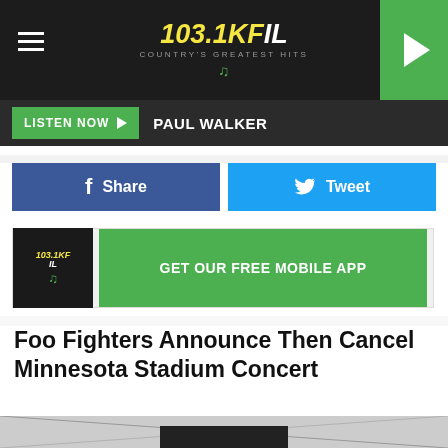103.1 KFIL COUNTRY'S GREATEST HITS
LISTEN NOW  PAUL WALKER
f  Share
Tweet
GET OUR FREE MOBILE APP
Foo Fighters Announce Then Cancel Minnesota Stadium Concert
[Figure (photo): Bottom portion of an outdoor stadium or tent structure photo, cropped — white/grey sky with cable or wire lines visible, and a dark structure at the bottom center.]